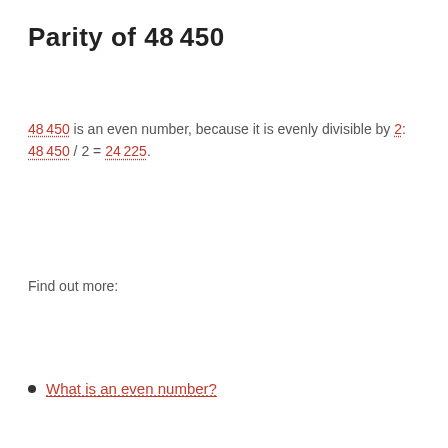Parity of 48 450
48 450 is an even number, because it is evenly divisible by 2: 48 450 / 2 = 24 225.
Find out more:
What is an even number?